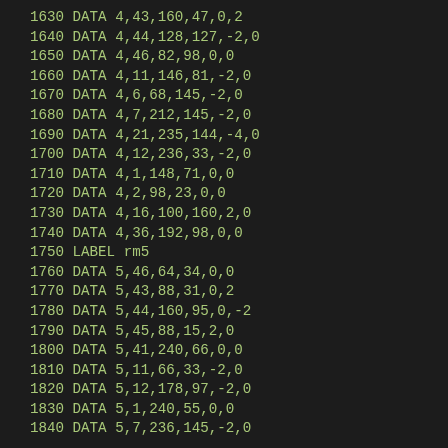1630 DATA 4,43,160,47,0,2
1640 DATA 4,44,128,127,-2,0
1650 DATA 4,46,82,98,0,0
1660 DATA 4,11,146,81,-2,0
1670 DATA 4,6,68,145,-2,0
1680 DATA 4,7,212,145,-2,0
1690 DATA 4,21,235,144,-4,0
1700 DATA 4,12,236,33,-2,0
1710 DATA 4,1,148,71,0,0
1720 DATA 4,2,98,23,0,0
1730 DATA 4,16,100,160,2,0
1740 DATA 4,36,192,98,0,0
1750 LABEL rm5
1760 DATA 5,46,64,34,0,0
1770 DATA 5,43,88,31,0,2
1780 DATA 5,44,160,95,0,-2
1790 DATA 5,45,88,15,2,0
1800 DATA 5,41,240,66,0,0
1810 DATA 5,11,66,33,-2,0
1820 DATA 5,12,178,97,-2,0
1830 DATA 5,1,240,55,0,0
1840 DATA 5,7,236,145,-2,0